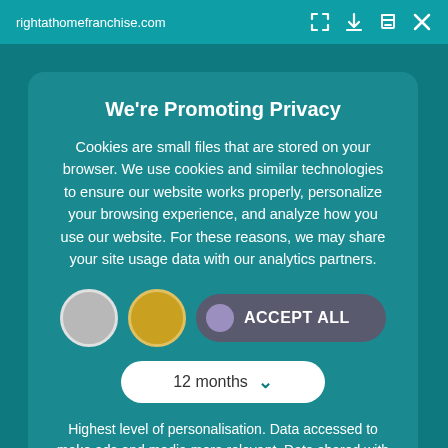rightathomefranchise.com
We're Promoting Privacy
Cookies are small files that are stored on your browser. We use cookies and similar technologies to ensure our website works properly, personalize your browsing experience, and analyze how you use our website. For these reasons, we may share your site usage data with our analytics partners.
[Figure (screenshot): Two circular toggle buttons (gray and gold) and an ACCEPT ALL button with a purple toggle on the left]
[Figure (screenshot): Dropdown selector showing '12 months' with a teal chevron arrow]
Highest level of personalisation. Data accessed to make ads and media more relevant. Data shared with 3rd parties may be use to track you on this site and other sites you visit.
[Figure (screenshot): Save my preferences button, teal rounded pill button]